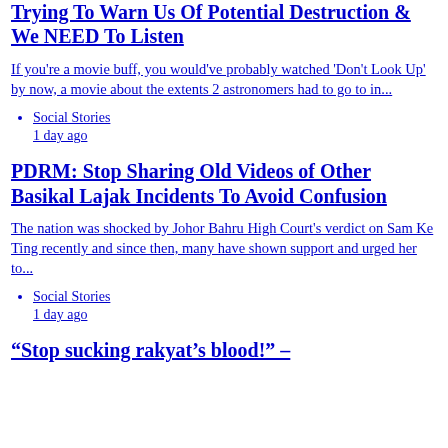Trying To Warn Us Of Potential Destruction & We NEED To Listen
If you're a movie buff, you would've probably watched 'Don't Look Up' by now, a movie about the extents 2 astronomers had to go to in...
Social Stories
1 day ago
PDRM: Stop Sharing Old Videos of Other Basikal Lajak Incidents To Avoid Confusion
The nation was shocked by Johor Bahru High Court's verdict on Sam Ke Ting recently and since then, many have shown support and urged her to...
Social Stories
1 day ago
“Stop sucking rakyat’s blood!” –